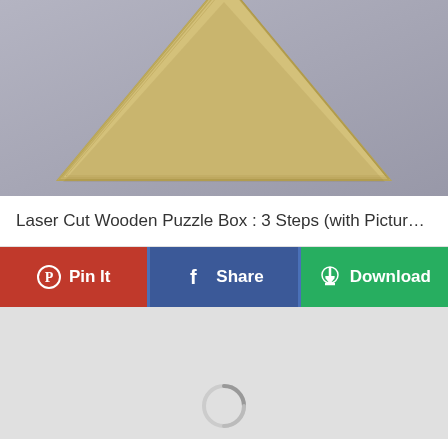[Figure (photo): Top portion of a laser cut wooden puzzle box photographed against a gray background, showing a triangular/diamond wooden piece]
Laser Cut Wooden Puzzle Box : 3 Steps (with Pictures)...
[Figure (screenshot): Three social sharing buttons: Pinterest Pin It (red), Facebook Share (blue), and Download (green). Below is a gray image placeholder area with a loading spinner at the bottom.]